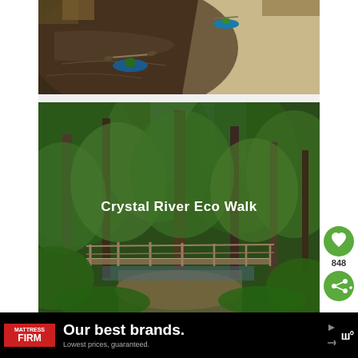[Figure (photo): Aerial view of kayakers on a dark river with sandy bank and autumn foliage]
[Figure (photo): Forest eco walk path with wooden bridge surrounded by green trees and vegetation, with text overlay reading 'Crystal River Eco Walk']
Crystal River Eco Walk
848
[Figure (infographic): Advertisement banner: Mattress Firm - Our best brands. Lowest prices, guaranteed.]